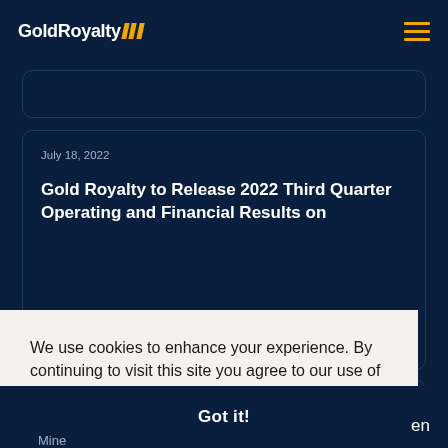GoldRoyalty
July 18, 2022
Gold Royalty to Release 2022 Third Quarter Operating and Financial Results on
We use cookies to enhance your experience. By continuing to visit this site you agree to our use of cookies.
Learn more
Got it!
en
Mine